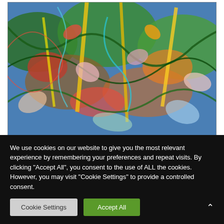[Figure (illustration): Abstract expressionist oil painting with dense, swirling brushstrokes of green, red, orange, blue, and yellow on canvas, depicting a chaotic tangle of foliage and abstract forms.]
Si me dejaras explicarte
If you let me explain
Oil on canvas
We use cookies on our website to give you the most relevant experience by remembering your preferences and repeat visits. By clicking "Accept All", you consent to the use of ALL the cookies. However, you may visit "Cookie Settings" to provide a controlled consent.